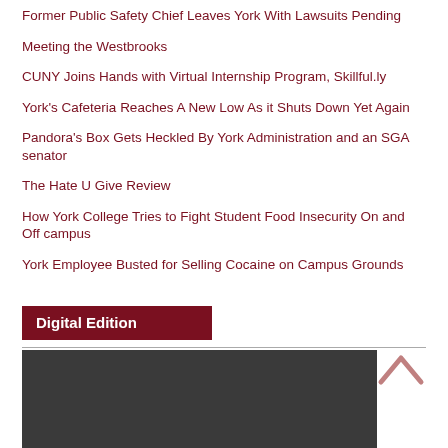Former Public Safety Chief Leaves York With Lawsuits Pending
Meeting the Westbrooks
CUNY Joins Hands with Virtual Internship Program, Skillful.ly
York's Cafeteria Reaches A New Low As it Shuts Down Yet Again
Pandora's Box Gets Heckled By York Administration and an SGA senator
The Hate U Give Review
How York College Tries to Fight Student Food Insecurity On and Off campus
York Employee Busted for Selling Cocaine on Campus Grounds
Digital Edition
[Figure (screenshot): Dark image block representing a digital edition preview at the bottom of the page]